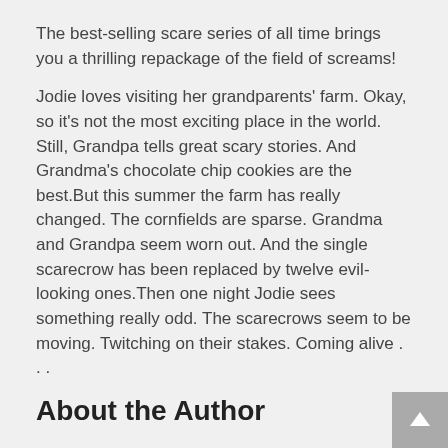The best-selling scare series of all time brings you a thrilling repackage of the field of screams!
Jodie loves visiting her grandparents' farm. Okay, so it's not the most exciting place in the world. Still, Grandpa tells great scary stories. And Grandma's chocolate chip cookies are the best.But this summer the farm has really changed. The cornfields are sparse. Grandma and Grandpa seem worn out. And the single scarecrow has been replaced by twelve evil-looking ones.Then one night Jodie sees something really odd. The scarecrows seem to be moving. Twitching on their stakes. Coming alive . . .
About the Author
R.L. Stine is the creator of the bestselling Goosebumps series, which has more than 400 million copies in print worldwide and celebrated 25 years in 2017. Goosebumps is one of the